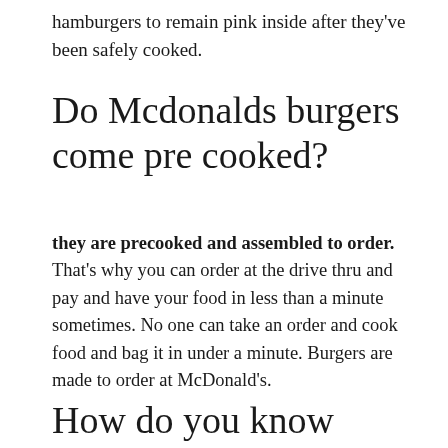hamburgers to remain pink inside after they've been safely cooked.
Do Mcdonalds burgers come pre cooked?
they are precooked and assembled to order. That's why you can order at the drive thru and pay and have your food in less than a minute sometimes. No one can take an order and cook food and bag it in under a minute. Burgers are made to order at McDonald's.
How do you know when a